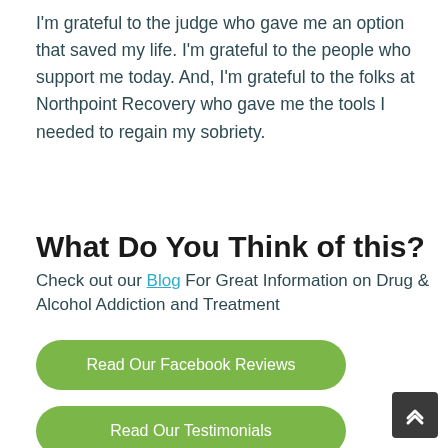I'm grateful to the judge who gave me an option that saved my life. I'm grateful to the people who support me today. And, I'm grateful to the folks at Northpoint Recovery who gave me the tools I needed to regain my sobriety.
What Do You Think of this?
Check out our Blog For Great Information on Drug & Alcohol Addiction and Treatment
Read Our Facebook Reviews
Read Our Testimonials